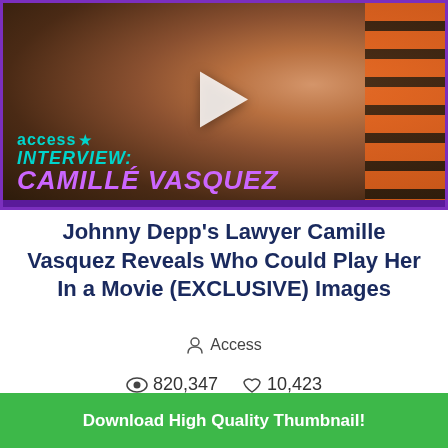[Figure (screenshot): Video thumbnail from Access showing Camille Vasquez with overlay text 'access INTERVIEW: CAMILLE VASQUEZ' and a play button]
Johnny Depp's Lawyer Camille Vasquez Reveals Who Could Play Her In a Movie (EXCLUSIVE) Images
Access
820,347   10,423
Download High Quality Thumbnail!